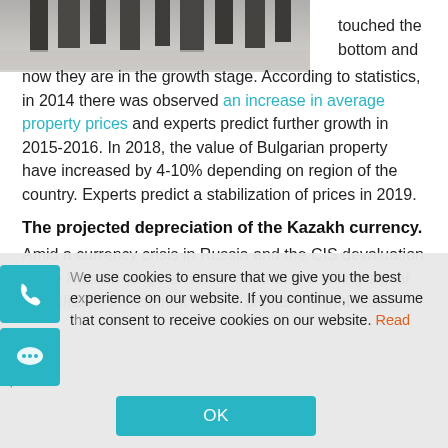[Figure (photo): Partial photo of people or objects at the top of the page, cropped]
touched the bottom and now they are in the growth stage. According to statistics, in 2014 there was observed an increase in average property prices and experts predict further growth in 2015-2016. In 2018, the value of Bulgarian property have increased by 4-10% depending on region of the country. Experts predict a stabilization of prices in 2019.
The projected depreciation of the Kazakh currency.
Amid a currency crisis in Russia and the CIS devaluation of the Kazakh tenge is not far off, that is a telling signal of profitable investment of their capital in liquid assets.
We use cookies to ensure that we give you the best experience on our website. If you continue, we assume that consent to receive cookies on our website. Read
OK